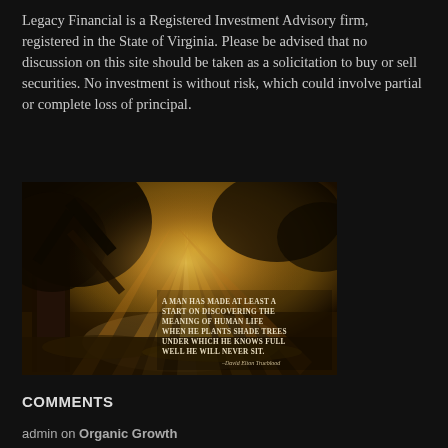Legacy Financial is a Registered Investment Advisory firm, registered in the State of Virginia. Please be advised that no discussion on this site should be taken as a solicitation to buy or sell securities. No investment is without risk, which could involve partial or complete loss of principal.
[Figure (photo): Sunlit tree with rays of light shining through branches onto a path, with an overlaid quote: 'A MAN HAS MADE AT LEAST A START ON DISCOVERING THE MEANING OF HUMAN LIFE WHEN HE PLANTS SHADE TREES UNDER WHICH HE KNOWS FULL WELL HE WILL NEVER SIT. — David Elton Trueblood']
COMMENTS
admin on Organic Growth